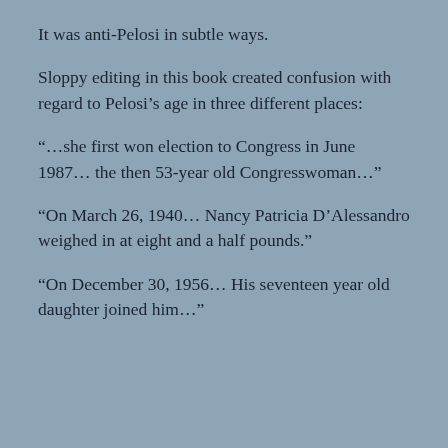It was anti-Pelosi in subtle ways.
Sloppy editing in this book created confusion with regard to Pelosi’s age in three different places:
“…she first won election to Congress in June 1987… the then 53-year old Congresswoman…”
“On March 26, 1940… Nancy Patricia D’Alessandro weighed in at eight and a half pounds.”
“On December 30, 1956… His seventeen year old daughter joined him…”